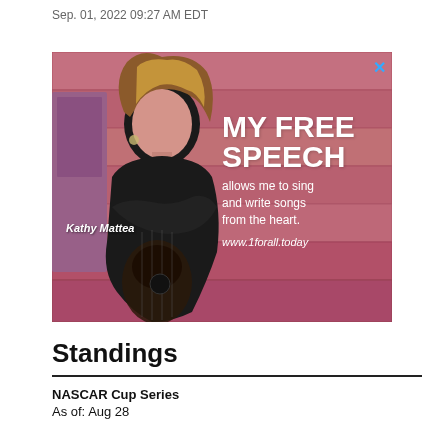Sep. 01, 2022 09:27 AM EDT
[Figure (photo): Advertisement featuring Kathy Mattea holding a guitar against a pink/mauve wooden wall background. Text reads: MY FREE SPEECH allows me to sing and write songs from the heart. www.1forall.today]
Standings
NASCAR Cup Series
As of: Aug 28